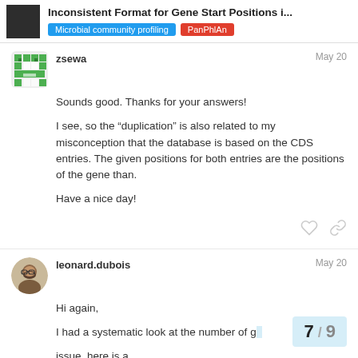Inconsistent Format for Gene Start Positions i... | Microbial community profiling | PanPhlAn
zsewa
May 20
Sounds good. Thanks for your answers!

I see, so the “duplication” is also related to my misconception that the database is based on the CDS entries. The given positions for both entries are the positions of the gene than.

Have a nice day!
leonard.dubois
May 20
Hi again,

I had a systematic look at the number of g...
issue, here is a...